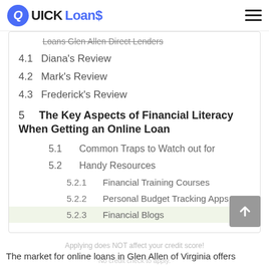QUICK Loans
4.1  Diana's Review
4.2  Mark's Review
4.3  Frederick's Review
5  The Key Aspects of Financial Literacy When Getting an Online Loan
5.1  Common Traps to Watch out for
5.2  Handy Resources
5.2.1  Financial Training Courses
5.2.2  Personal Budget Tracking Apps
5.2.3  Financial Blogs
Applying does NOT affect your credit score!
No credit check to apply.
The market for online loans in Glen Allen of Virginia offers